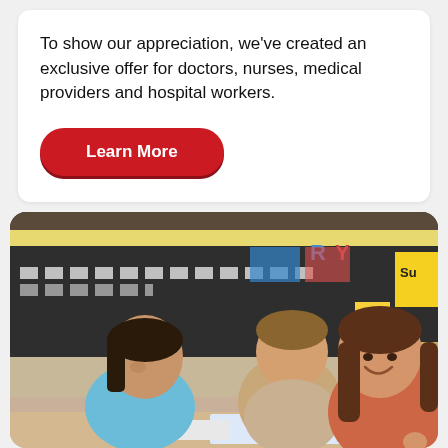To show our appreciation, we've created an exclusive offer for doctors, nurses, medical providers and hospital workers.
[Figure (other): Red rounded pill-shaped button with white bold text reading 'Learn More']
[Figure (photo): A smiling female teacher with long brown hair wearing a coral/orange top, sitting at a desk with two young children in an elementary school classroom. The classroom has a dark chalkboard covered with charts, colorful decorations, and educational materials on the walls.]